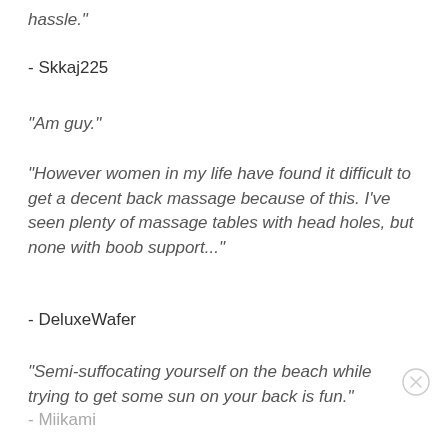hassle."
- Skkaj225
"Am guy."
"However women in my life have found it difficult to get a decent back massage because of this. I've seen plenty of massage tables with head holes, but none with boob support..."
- DeluxeWafer
"Semi-suffocating yourself on the beach while trying to get some sun on your back is fun."
- Miikami